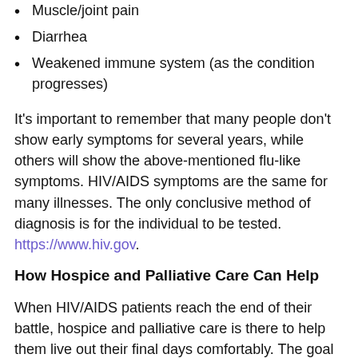Muscle/joint pain
Diarrhea
Weakened immune system (as the condition progresses)
It's important to remember that many people don't show early symptoms for several years, while others will show the above-mentioned flu-like symptoms. HIV/AIDS symptoms are the same for many illnesses. The only conclusive method of diagnosis is for the individual to be tested. https://www.hiv.gov.
How Hospice and Palliative Care Can Help
When HIV/AIDS patients reach the end of their battle, hospice and palliative care is there to help them live out their final days comfortably. The goal of hospice/palliative care is to relieve physical and emotional distress, allowing patients to retain their dignity while staying comfortable through: